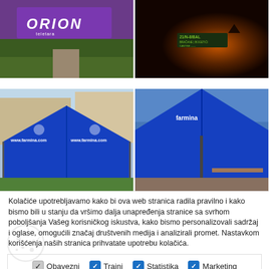[Figure (photo): Two photos in top row: left shows ORION signage with purple billboard and green grounds; right shows a dark nighttime scene with a tent/booth lit in orange.]
[Figure (photo): Two photos in bottom row: left shows a blue branded tent/gazebo with www.farmina.com branding outdoors; right shows a similar blue branded tent from a different angle.]
Kolačiće upotrebljavamo kako bi ova web stranica radila pravilno i kako bismo bili u stanju da vršimo dalja unapređenja stranice sa svrhom poboljšanja Vašeg korisničkog iskustva, kako bismo personalizovali sadržaj i oglase, omogućili značaj društvenih medija i analizirali promet. Nastavkom korišćenja naših stranica prihvatate upotrebu kolačića.
Obavezni  Trajni  Statistika  Marketing
Saznaj više
✔ Slažem se